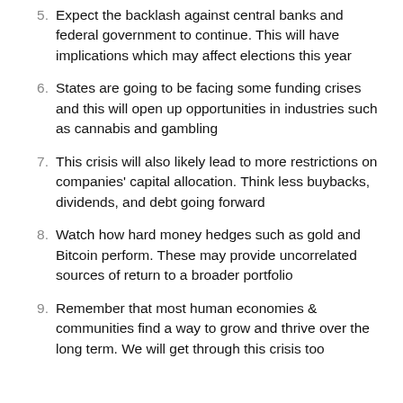5. Expect the backlash against central banks and federal government to continue. This will have implications which may affect elections this year
6. States are going to be facing some funding crises and this will open up opportunities in industries such as cannabis and gambling
7. This crisis will also likely lead to more restrictions on companies' capital allocation. Think less buybacks, dividends, and debt going forward
8. Watch how hard money hedges such as gold and Bitcoin perform. These may provide uncorrelated sources of return to a broader portfolio
9. Remember that most human economies & communities find a way to grow and thrive over the long term. We will get through this crisis too